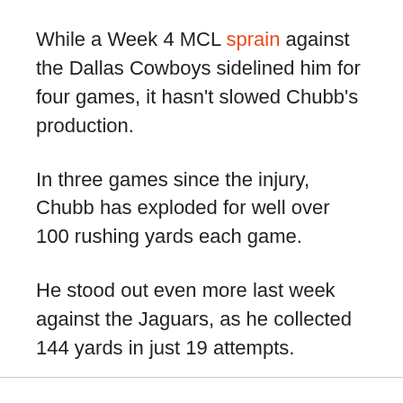While a Week 4 MCL sprain against the Dallas Cowboys sidelined him for four games, it hasn't slowed Chubb's production.
In three games since the injury, Chubb has exploded for well over 100 rushing yards each game.
He stood out even more last week against the Jaguars, as he collected 144 yards in just 19 attempts.